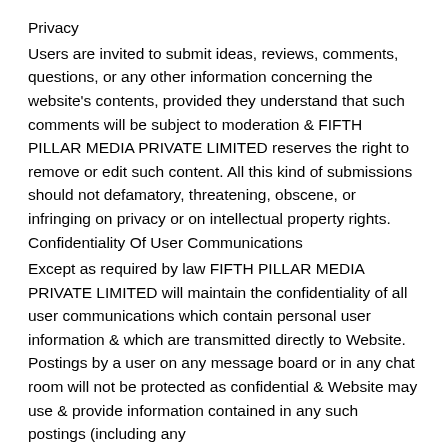Privacy
Users are invited to submit ideas, reviews, comments, questions, or any other information concerning the website's contents, provided they understand that such comments will be subject to moderation & FIFTH PILLAR MEDIA PRIVATE LIMITED reserves the right to remove or edit such content. All this kind of submissions should not defamatory, threatening, obscene, or infringing on privacy or on intellectual property rights.
Confidentiality Of User Communications
Except as required by law FIFTH PILLAR MEDIA PRIVATE LIMITED will maintain the confidentiality of all user communications which contain personal user information & which are transmitted directly to Website. Postings by a user on any message board or in any chat room will not be protected as confidential & Website may use & provide information contained in any such postings (including any